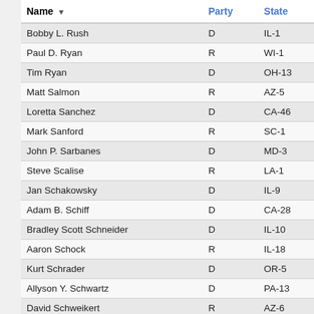| Name | Party | State |
| --- | --- | --- |
| Bobby L. Rush | D | IL-1 |
| Paul D. Ryan | R | WI-1 |
| Tim Ryan | D | OH-13 |
| Matt Salmon | R | AZ-5 |
| Loretta Sanchez | D | CA-46 |
| Mark Sanford | R | SC-1 |
| John P. Sarbanes | D | MD-3 |
| Steve Scalise | R | LA-1 |
| Jan Schakowsky | D | IL-9 |
| Adam B. Schiff | D | CA-28 |
| Bradley Scott Schneider | D | IL-10 |
| Aaron Schock | R | IL-18 |
| Kurt Schrader | D | OR-5 |
| Allyson Y. Schwartz | D | PA-13 |
| David Schweikert | R | AZ-6 |
| Austin Scott | R | GA-8 |
| David Scott | D | GA-13 |
| Bobby Scott | D | VA-3 |
| F. "Jim" Sensenbrenner | R | WI-5 |
| José E. Serrano | D | NY-15 |
| Pete Sessions | R | TX-32 |
| Terri A. Sewell | D | AL-7 |
| Carol Shea-Porter | R | NH-1 |